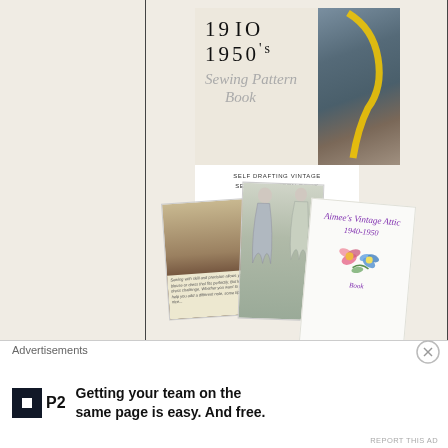[Figure (illustration): Book cover for '1940 1950's Sewing Pattern Book' showing title text in serif font, a cursive script subtitle 'Sewing Pattern Book', a small white box with text 'SELF DRAFTING VINTAGE SEWING PATTERN BOOK / AIMEE'S VICTORIAN ARMOIRE', and a photo of a gray dressmaker's mannequin with a yellow measuring tape. Below are collaged images of vintage fashion illustrations and a handwritten card labeled 'Aimee's Vintage Attic 1940-1950' with floral decoration.]
Advertisements
[Figure (logo): P2 logo: dark square with white inner square and 'P2' text in white]
Getting your team on the same page is easy. And free.